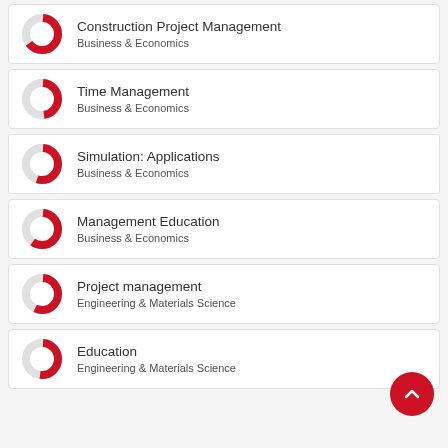Construction Project Management — Business & Economics
Time Management — Business & Economics
Simulation: Applications — Business & Economics
Management Education — Business & Economics
Project management — Engineering & Materials Science
Education — Engineering & Materials Science